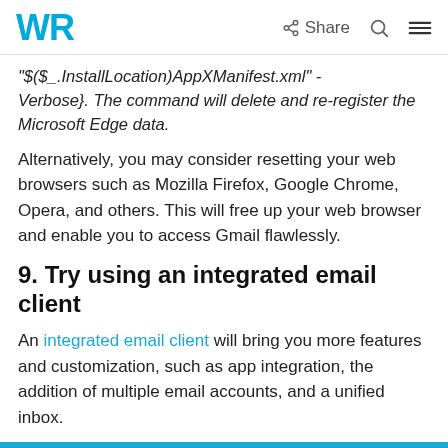WR | Share
"$($_.InstallLocation)AppXManifest.xml" -Verbose}. The command will delete and re-register the Microsoft Edge data.
Alternatively, you may consider resetting your web browsers such as Mozilla Firefox, Google Chrome, Opera, and others. This will free up your web browser and enable you to access Gmail flawlessly.
9. Try using an integrated email client
An integrated email client will bring you more features and customization, such as app integration, the addition of multiple email accounts, and a unified inbox.